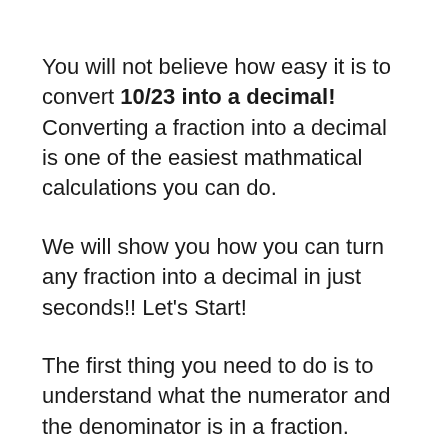You will not believe how easy it is to convert 10/23 into a decimal! Converting a fraction into a decimal is one of the easiest mathmatical calculations you can do.
We will show you how you can turn any fraction into a decimal in just seconds!! Let's Start!
The first thing you need to do is to understand what the numerator and the denominator is in a fraction.
In the fraction 10/23 the numerator is